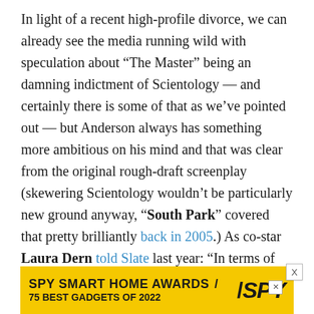In light of a recent high-profile divorce, we can already see the media running wild with speculation about “The Master” being an damning indictment of Scientology — and certainly there is some of that as we’ve pointed out — but Anderson always has something more ambitious on his mind and that was clear from the original rough-draft screenplay (skewering Scientology wouldn’t be particularly new ground anyway, “South Park” covered that pretty brilliantly back in 2005.) As co-star Laura Dern told Slate last year: “In terms of the subject of the film, and all of the films he makes, he dances so comfortably in the gray. When he takes on the subject matter, any subject matter, he is there to examine what it offers; not just take anything down. It’s funny when people think filmmakers are irreverent. It’s like, ‘Ooh, what’s he doing? I heard the
[Figure (other): Advertisement banner: SPY SMART HOME AWARDS / 75 BEST GADGETS OF 2022 with SPY logo on yellow background]